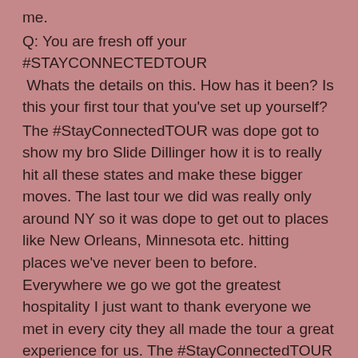me.
Q: You are fresh off your #STAYCONNECTEDTOUR  Whats the details on this. How has it been? Is this your first tour that you've set up yourself?
The #StayConnectedTOUR was dope got to show my bro Slide Dillinger how it is to really hit all these states and make these bigger moves. The last tour we did was really only around NY so it was dope to get out to places like New Orleans, Minnesota etc. hitting places we've never been to before. Everywhere we go we got the greatest hospitality I just want to thank everyone we met in every city they all made the tour a great experience for us. The #StayConnectedTOUR was actually the 3rd tour i put together this year. There are a lot of artists that want to work with me and my company now that the word is spreading out to several areas.
Q: Any upcoming artists that we should know about??
Definitely look out for my artists Slide Dillinger, NephLon